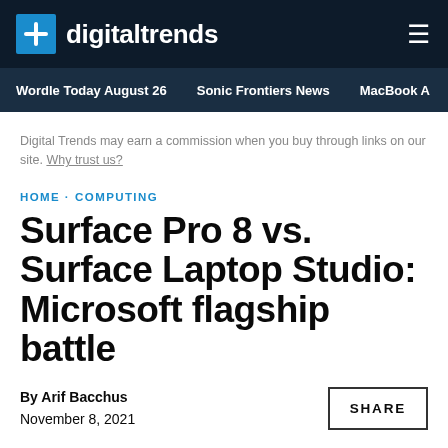digitaltrends
Wordle Today August 26 · Sonic Frontiers News · MacBook A
Digital Trends may earn a commission when you buy through links on our site. Why trust us?
HOME · COMPUTING
Surface Pro 8 vs. Surface Laptop Studio: Microsoft flagship battle
By Arif Bacchus
November 8, 2021